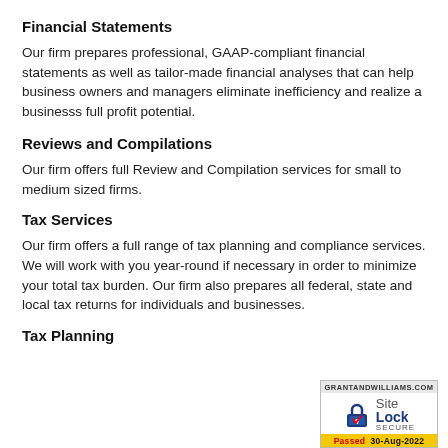Financial Statements
Our firm prepares professional, GAAP-compliant financial statements as well as tailor-made financial analyses that can help business owners and managers eliminate inefficiency and realize a businesss full profit potential.
Reviews and Compilations
Our firm offers full Review and Compilation services for small to medium sized firms.
Tax Services
Our firm offers a full range of tax planning and compliance services. We will work with you year-round if necessary in order to minimize your total tax burden. Our firm also prepares all federal, state and local tax returns for individuals and businesses.
Tax Planning
[Figure (logo): SiteLock Secure badge showing GRANTANDWILLIAMS.COM, a padlock icon, SiteLock SECURE text, and Passed 30-Aug-2022 in yellow bar]